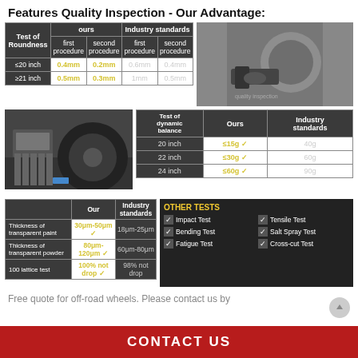Features Quality Inspection - Our Advantage:
| Test of Roundness | ours first procedure | ours second procedure | Industry standards first procedure | Industry standards second procedure |
| --- | --- | --- | --- | --- |
| ≤20 inch | 0.4mm | 0.2mm | 0.6mm | 0.4mm |
| ≥21 inch | 0.5mm | 0.3mm | 1mm | 0.5mm |
[Figure (photo): Close-up photo of a hand with glove working on a metal wheel/rim]
[Figure (photo): Photo of a dynamic balance testing machine with a black wheel mounted]
| Test of dynamic balance | Ours | Industry standards |
| --- | --- | --- |
| 20 inch | ≤15g ✓ | 40g |
| 22 inch | ≤30g ✓ | 60g |
| 24 inch | ≤60g ✓ | 90g |
|  | Our | Industry standards |
| --- | --- | --- |
| Thickness of transparent paint | 30μm-50μm ✓ | 18μm-25μm |
| Thickness of transparent powder | 80μm-120μm ✓ | 60μm-80μm |
| 100 lattice test | 100% not drop ✓ | 98% not drop |
OTHER TESTS
Impact Test
Tensile Test
Bending Test
Salt Spray Test
Fatigue Test
Cross-cut Test
Free quote for off-road wheels. Please contact us by
CONTACT US